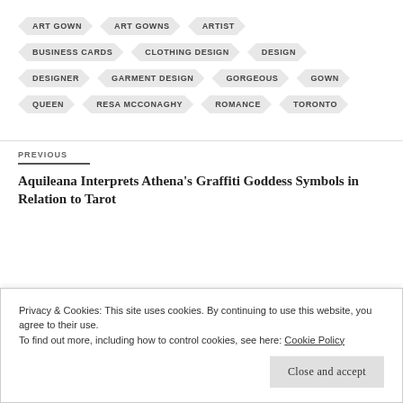ART GOWN
ART GOWNS
ARTIST
BUSINESS CARDS
CLOTHING DESIGN
DESIGN
DESIGNER
GARMENT DESIGN
GORGEOUS
GOWN
QUEEN
RESA MCCONAGHY
ROMANCE
TORONTO
PREVIOUS
Aquileana Interprets Athena's Graffiti Goddess Symbols in Relation to Tarot
Privacy & Cookies: This site uses cookies. By continuing to use this website, you agree to their use.
To find out more, including how to control cookies, see here: Cookie Policy
Close and accept